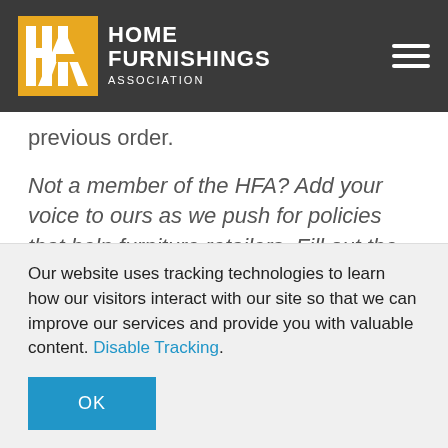Home Furnishings Association
previous order.
Not a member of the HFA? Add your voice to ours as we push for policies that help furniture retailers. Fill out the form today!
Our website uses tracking technologies to learn how our visitors interact with our site so that we can improve our services and provide you with valuable content. Disable Tracking.
OK